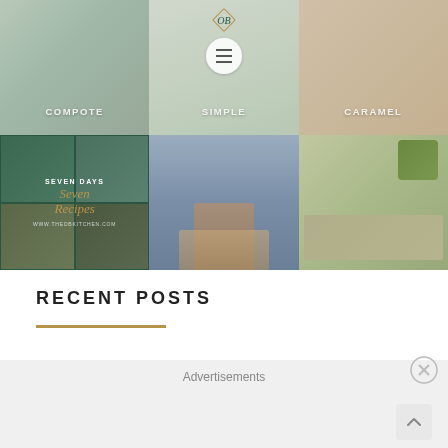[Figure (photo): 3x2 grid of food and lifestyle photos. Top row: blurred food images with text overlays (COMPOTE, SIMPLE/FRESH, CARAMEL). Bottom row: Seven Days Seven Recipes food collage, wrapped gift packages in street, oysters and pineapple on table. Center top has a logo with OB initials in diamond shape and a hamburger menu icon.]
RECENT POSTS
Advertisements